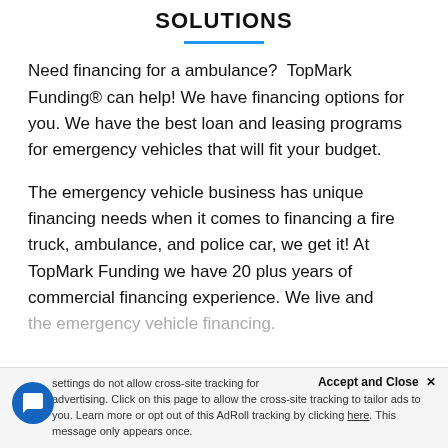SOLUTIONS
Need financing for a ambulance? TopMark Funding® can help! We have financing options for you. We have the best loan and leasing programs for emergency vehicles that will fit your budget.
The emergency vehicle business has unique financing needs when it comes to financing a fire truck, ambulance, and police car, we get it! At TopMark Funding we have 20 plus years of commercial financing experience. We live and
the emergency vehicle financing.
Accept and Close ✕ settings do not allow cross-site tracking for advertising. Click on this page to allow the cross-site tracking to tailor ads to you. Learn more or opt out of this AdRoll tracking by clicking here. This message only appears once.